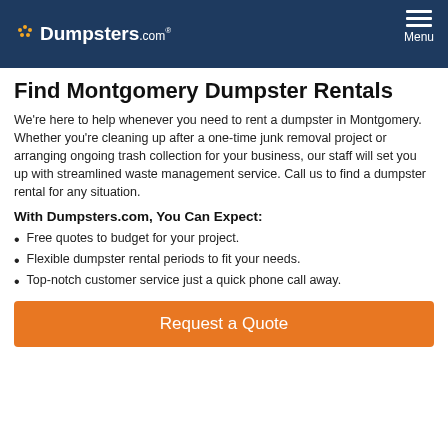Dumpsters.com — Menu
Find Montgomery Dumpster Rentals
We're here to help whenever you need to rent a dumpster in Montgomery. Whether you're cleaning up after a one-time junk removal project or arranging ongoing trash collection for your business, our staff will set you up with streamlined waste management service. Call us to find a dumpster rental for any situation.
With Dumpsters.com, You Can Expect:
Free quotes to budget for your project.
Flexible dumpster rental periods to fit your needs.
Top-notch customer service just a quick phone call away.
Request a Quote